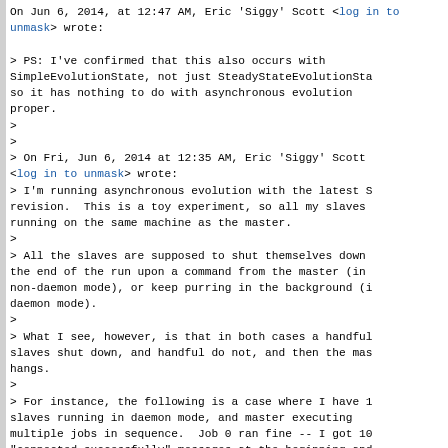On Jun 6, 2014, at 12:47 AM, Eric 'Siggy' Scott <[log in to unmask]> wrote:

> PS: I've confirmed that this also occurs with SimpleEvolutionState, not just SteadyStateEvolutionState, so it has nothing to do with asynchronous evolution proper.
>
>
> On Fri, Jun 6, 2014 at 12:35 AM, Eric 'Siggy' Scott <[log in to unmask]> wrote:
> I'm running asynchronous evolution with the latest SVN revision.  This is a toy experiment, so all my slaves running on the same machine as the master.
>
> All the slaves are supposed to shut themselves down at the end of the run upon a command from the master (in non-daemon mode), or keep purring in the background (in daemon mode).
>
> What I see, however, is that in both cases a handful of slaves shut down, and handful do not, and then the master hangs.
>
> For instance, the following is a case where I have 10 slaves running in daemon mode, and master executing multiple jobs in sequence.  Job 0 ran fine -- I got 10 "connected successfully" messages at the beginning and 10 "shut down" messages at the end.  But here is the output of job 1: